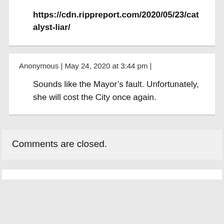https://cdn.rippreport.com/2020/05/23/catalyst-liar/
Anonymous | May 24, 2020 at 3:44 pm |
Sounds like the Mayor’s fault. Unfortunately, she will cost the City once again.
Comments are closed.